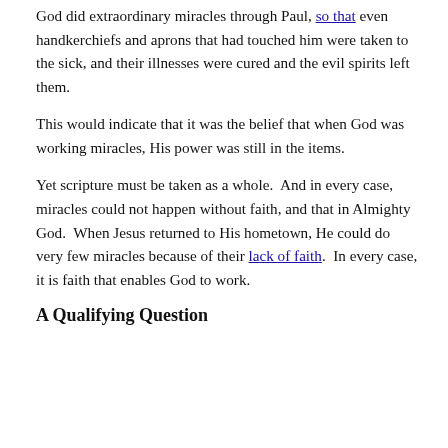God did extraordinary miracles through Paul, so that even handkerchiefs and aprons that had touched him were taken to the sick, and their illnesses were cured and the evil spirits left them.
This would indicate that it was the belief that when God was working miracles, His power was still in the items.
Yet scripture must be taken as a whole.  And in every case, miracles could not happen without faith, and that in Almighty God.  When Jesus returned to His hometown, He could do very few miracles because of their lack of faith.  In every case, it is faith that enables God to work.
A Qualifying Question